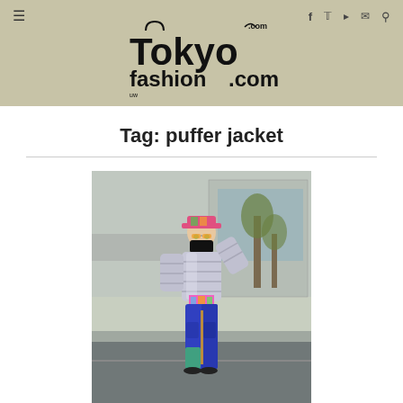TokyoFashion.com — navigation header with hamburger menu and social icons (f, twitter, rss, mail, search)
Tag: puffer jacket
[Figure (photo): Street fashion photo of a person standing on a street in Harajuku, Tokyo. The person wears a silver metallic puffer jacket, colorful graphic top, bright blue cargo pants with teal/green panel, a face mask, and a colorful cap. They are posing with one hand raised.]